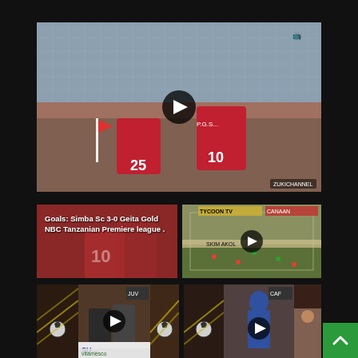[Figure (screenshot): Main video thumbnail showing two football players in red jerseys (numbers 25 and 10) celebrating near a corner flag at a stadium with empty blue seats in the background. A play button is overlaid in the center.]
[Figure (screenshot): Video thumbnail with text overlay: 'Goals: Simba Sc 3-0 Geita Gold NBC Tanzanian Premiere league .' showing players in red jerseys.]
[Figure (screenshot): Video thumbnail showing a football match aerial/wide view of the pitch with players, with a play button overlay.]
[Figure (screenshot): Bottom left group of smaller video thumbnails showing football match clips with soccer ball graphics and a referee/player.]
[Figure (screenshot): Bottom right group of smaller video thumbnails showing football match clips with soccer ball graphics and a player in blue hijab.]